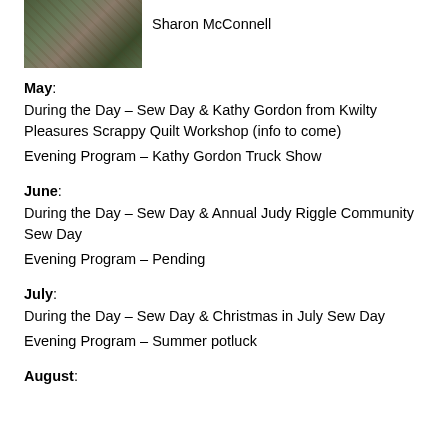[Figure (photo): Photo of a person working on a quilt/sewing project on a table with colorful fabric]
Sharon McConnell
May:
During the Day – Sew Day & Kathy Gordon from Kwilty Pleasures Scrappy Quilt Workshop (info to come)
Evening Program – Kathy Gordon Truck Show
June:
During the Day – Sew Day & Annual Judy Riggle Community Sew Day
Evening Program – Pending
July:
During the Day – Sew Day & Christmas in July Sew Day
Evening Program – Summer potluck
August: